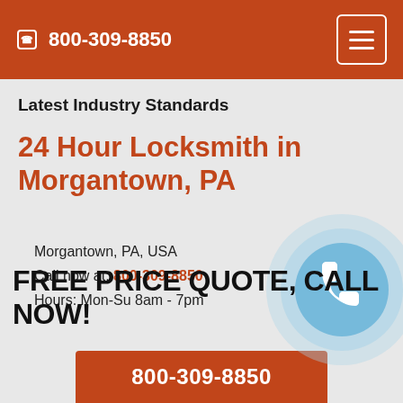800-309-8850
Latest Industry Standards
24 Hour Locksmith in Morgantown, PA
Morgantown, PA, USA
Call now at: 800-309-8850
Hours: Mon-Su 8am - 7pm
[Figure (illustration): Light blue phone receiver icon in a circular badge, semi-transparent, overlaid on the background]
FREE PRICE QUOTE, CALL NOW!
800-309-8850